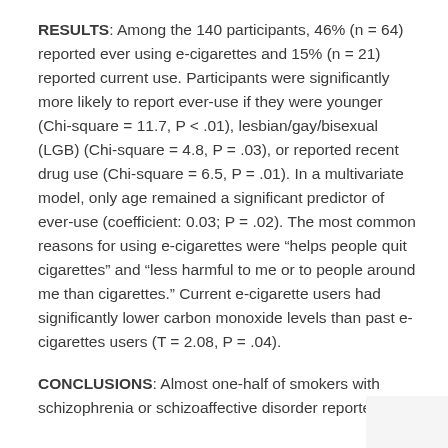RESULTS: Among the 140 participants, 46% (n = 64) reported ever using e-cigarettes and 15% (n = 21) reported current use. Participants were significantly more likely to report ever-use if they were younger (Chi-square = 11.7, P < .01), lesbian/gay/bisexual (LGB) (Chi-square = 4.8, P = .03), or reported recent drug use (Chi-square = 6.5, P = .01). In a multivariate model, only age remained a significant predictor of ever-use (coefficient: 0.03; P = .02). The most common reasons for using e-cigarettes were “helps people quit cigarettes” and “less harmful to me or to people around me than cigarettes.” Current e-cigarette users had significantly lower carbon monoxide levels than past e-cigarettes users (T = 2.08, P = .04).
CONCLUSIONS: Almost one-half of smokers with schizophrenia or schizoaffective disorder reported